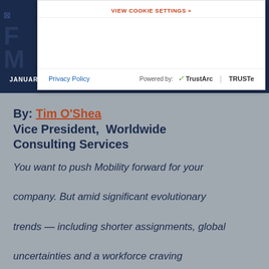[Figure (screenshot): Cookie consent banner overlay with TrustArc/TRUSTe branding, showing 'VIEW COOKIE SETTINGS' link, Privacy Policy link, and Powered by TrustArc | TRUSTe footer]
JANUARY 11, 2018 | TIM O'SHEA
By: Tim O'Shea
Vice President, Worldwide Consulting Services
You want to push Mobility forward for your company. But amid significant evolutionary trends — including shorter assignments, global uncertainties and a workforce craving